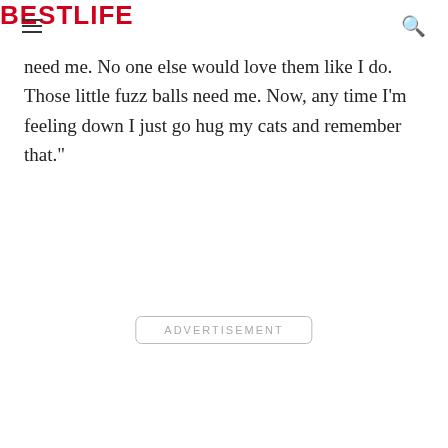BESTLIFE
need me. No one else would love them like I do. Those little fuzz balls need me. Now, any time I'm feeling down I just go hug my cats and remember that."
ADVERTISEMENT